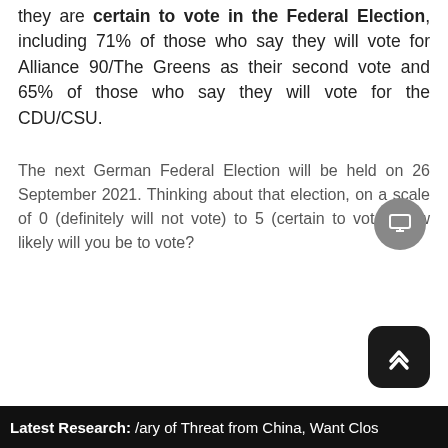they are certain to vote in the Federal Election, including 71% of those who say they will vote for Alliance 90/The Greens as their second vote and 65% of those who say they will vote for the CDU/CSU.
The next German Federal Election will be held on 26 September 2021. Thinking about that election, on a scale of 0 (definitely will not vote) to 5 (certain to vote), how likely will you be to vote?
Latest Research: /ary of Threat from China, Want Clos...